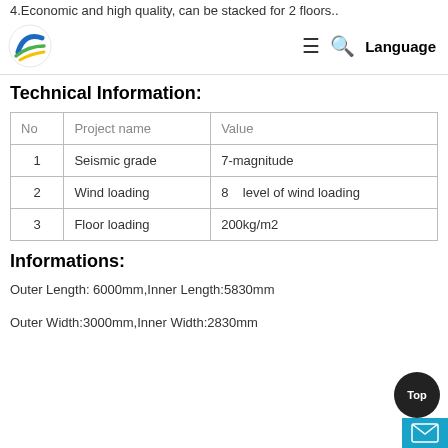4.Economic and high quality, can be stacked for 2 floors..
Logo | ≡ 🔍 Language
Technical Information:
| No | Project name | Value |
| --- | --- | --- |
| 1 | Seismic grade | 7-magnitude |
| 2 | Wind loading | 8    level of wind loading |
| 3 | Floor loading | 200kg/m2 |
Informations:
Outer Length: 6000mm,Inner Length:5830mm
Outer Width:3000mm,Inner Width:2830mm